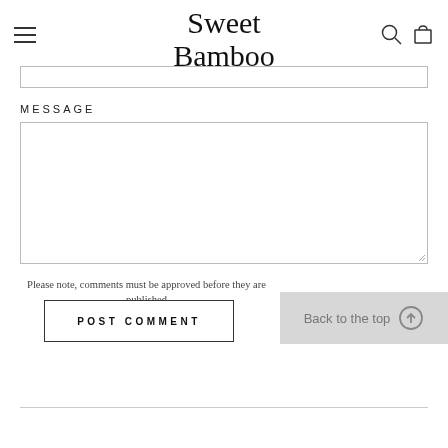Sweet Bamboo
MESSAGE
Please note, comments must be approved before they are published
POST COMMENT
Back to the top